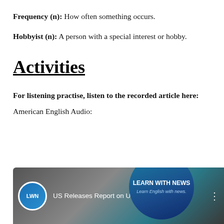Frequency (n): How often something occurs.
Hobbyist (n): A person with a special interest or hobby.
Activities
For listening practise, listen to the recorded article here:
American English Audio:
[Figure (screenshot): Video thumbnail showing LWN (Learn With News) logo badge and title 'US Releases Report on Unexplain...' with a large circular Learn With News logo overlay on a dark gradient background.]